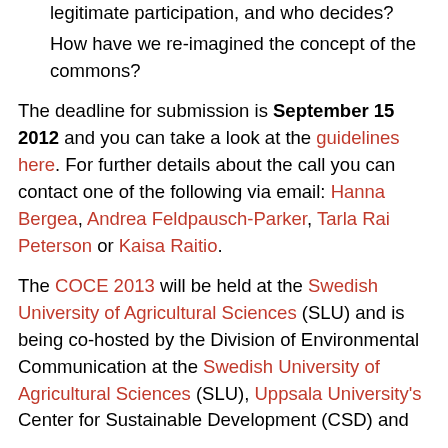legitimate participation, and who decides?
How have we re-imagined the concept of the commons?
The deadline for submission is September 15 2012 and you can take a look at the guidelines here. For further details about the call you can contact one of the following via email: Hanna Bergea, Andrea Feldpausch-Parker, Tarla Rai Peterson or Kaisa Raitio.
The COCE 2013 will be held at the Swedish University of Agricultural Sciences (SLU) and is being co-hosted by the Division of Environmental Communication at the Swedish University of Agricultural Sciences (SLU), Uppsala University's Center for Sustainable Development (CSD) and